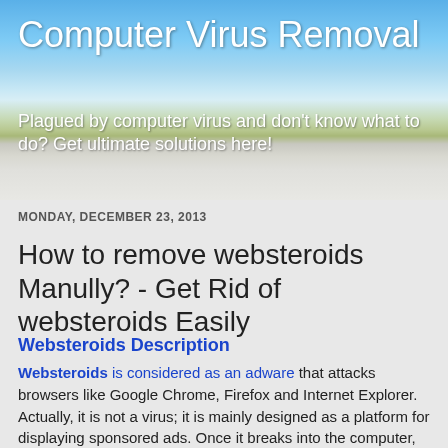[Figure (photo): Banner image showing a blue sky with clouds, green trees, and a road — serving as the header background for a Computer Virus Removal blog]
Computer Virus Removal
Plagued by computer virus and don't know what to do? Get ultimate solutions here!
MONDAY, DECEMBER 23, 2013
How to remove websteroids Manully? - Get Rid of websteroids Easily
Websteroids Description
Websteroids is considered as an adware that attacks browsers like Google Chrome, Firefox and Internet Explorer. Actually, it is not a virus; it is mainly designed as a platform for displaying sponsored ads. Once it breaks into the computer, every other website may be inserted ads by Websteroids and you may get a lot of re-directs against your desire. And sites which may already add new objects into